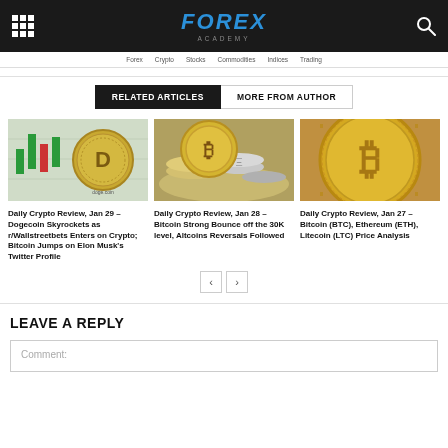FOREX ACADEMY
RELATED ARTICLES | MORE FROM AUTHOR
[Figure (photo): Dogecoin gold coin against trading chart background]
Daily Crypto Review, Jan 29 – Dogecoin Skyrockets as r/Wallstreetbets Enters on Crypto; Bitcoin Jumps on Elon Musk's Twitter Profile
[Figure (photo): Multiple cryptocurrency coins including Bitcoin]
Daily Crypto Review, Jan 28 – Bitcoin Strong Bounce off the 30K level, Altcoins Reversals Followed
[Figure (photo): Gold Bitcoin coin close-up]
Daily Crypto Review, Jan 27 – Bitcoin (BTC), Ethereum (ETH), Litecoin (LTC) Price Analysis
LEAVE A REPLY
Comment: